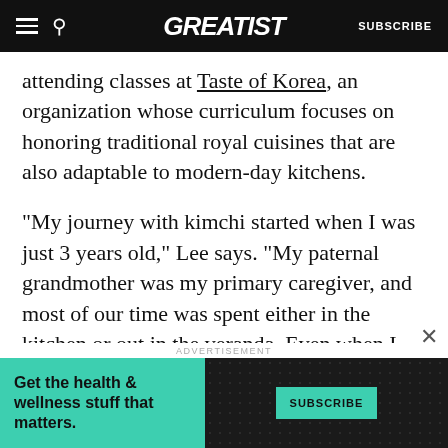GREATIST | SUBSCRIBE
attending classes at Taste of Korea, an organization whose curriculum focuses on honoring traditional royal cuisines that are also adaptable to modern-day kitchens.
“My journey with kimchi started when I was just 3 years old,” Lee says. “My paternal grandmother was my primary caregiver, and most of our time was spent either in the kitchen or out in the veranda. Even when I was a baby, she’d teach me how to identify when the behchoo [cabbage] was
[Figure (other): Advertisement banner: teal/green panel with text 'Get the health & wellness stuff that matters.' and a dark panel with SUBSCRIBE button]